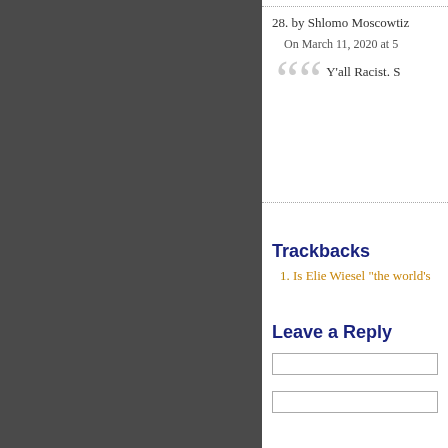28. by Shlomo Moscowtiz
On March 11, 2020 at 5
Y'all Racist. S
Trackbacks
1. Is Elie Wiesel "the world's
Leave a Reply